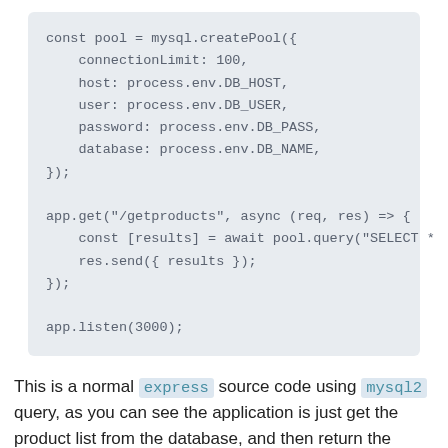const pool = mysql.createPool({
    connectionLimit: 100,
    host: process.env.DB_HOST,
    user: process.env.DB_USER,
    password: process.env.DB_PASS,
    database: process.env.DB_NAME,
});

app.get("/getproducts", async (req, res) => {
    const [results] = await pool.query("SELECT *
    res.send({ results });
});

app.listen(3000);
This is a normal express source code using mysql2 query, as you can see the application is just get the product list from the database, and then return the query results.